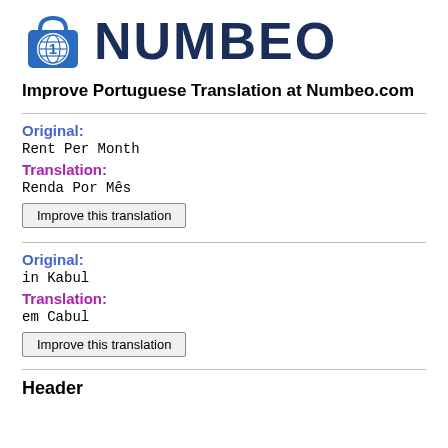[Figure (logo): Numbeo logo with shopping bag icon and globe, with bold dark blue NUMBEO text]
Improve Portuguese Translation at Numbeo.com
Original:
Rent Per Month
Translation:
Renda Por Mês
Improve this translation
Original:
in Kabul
Translation:
em Cabul
Improve this translation
Header